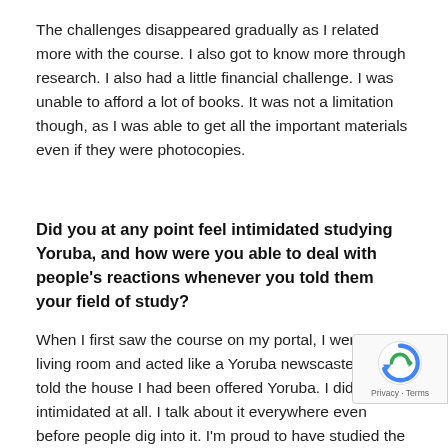The challenges disappeared gradually as I related more with the course. I also got to know more through research. I also had a little financial challenge. I was unable to afford a lot of books. It was not a limitation though, as I was able to get all the important materials even if they were photocopies.
Did you at any point feel intimidated studying Yoruba, and how were you able to deal with people's reactions whenever you told them your field of study?
When I first saw the course on my portal, I went to the living room and acted like a Yoruba newscaster, then I told the house I had been offered Yoruba. I didn't feel intimidated at all. I talk about it everywhere even before people dig into it. I'm proud to have studied the cou
I understand you play various instruments and you